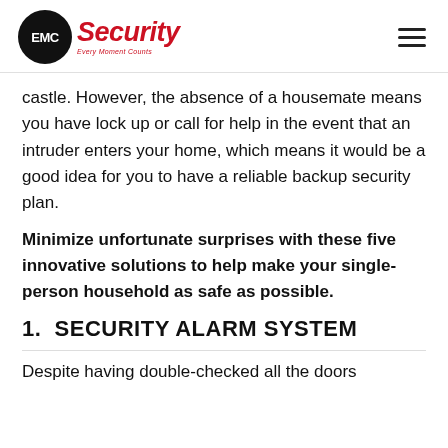EMC Security — Every Moment Counts
castle. However, the absence of a housemate means you have lock up or call for help in the event that an intruder enters your home, which means it would be a good idea for you to have a reliable backup security plan.
Minimize unfortunate surprises with these five innovative solutions to help make your single-person household as safe as possible.
1.  SECURITY ALARM SYSTEM
Despite having double-checked all the doors